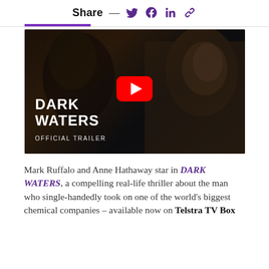Share — (social icons: Twitter, Facebook, LinkedIn, Link)
[Figure (screenshot): YouTube video thumbnail for Dark Waters Official Trailer, showing two men in formal attire in a dark scene, with the YouTube play button overlay, and 'DARK WATERS OFFICIAL TRAILER' text on the video]
Mark Ruffalo and Anne Hathaway star in DARK WATERS, a compelling real-life thriller about the man who single-handedly took on one of the world's biggest chemical companies – available now on Telstra TV Box